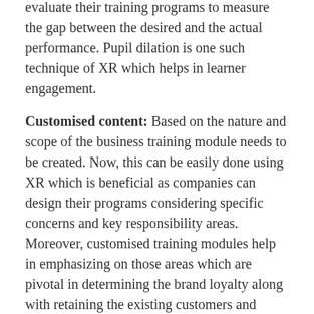evaluate their training programs to measure the gap between the desired and the actual performance. Pupil dilation is one such technique of XR which helps in learner engagement.
Customised content: Based on the nature and scope of the business training module needs to be created. Now, this can be easily done using XR which is beneficial as companies can design their programs considering specific concerns and key responsibility areas. Moreover, customised training modules help in emphasizing on those areas which are pivotal in determining the brand loyalty along with retaining the existing customers and attracting the potential ones.
Extended Reality companies contribute a lot to enrich and complement employee training initiatives to enhance business productivity and revenue. By enhancing the visual impression of the training materials, immersive technology like XR can help in retaining knowledge for long. Employees receiving training through XR can also learn from their